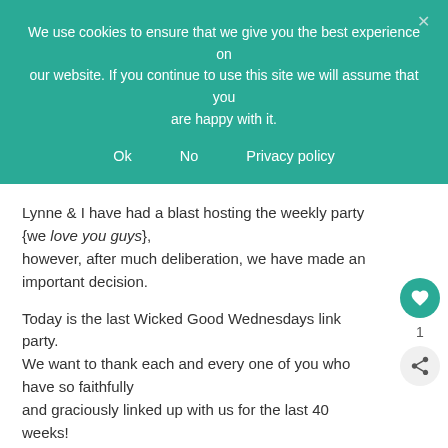We use cookies to ensure that we give you the best experience on our website. If you continue to use this site we will assume that you are happy with it.
Ok   No   Privacy policy
Lynne & I have had a blast hosting the weekly party {we love you guys}, however, after much deliberation, we have made an important decision.
Today is the last Wicked Good Wednesdays link party. We want to thank each and every one of you who have so faithfully and graciously linked up with us for the last 40 weeks!